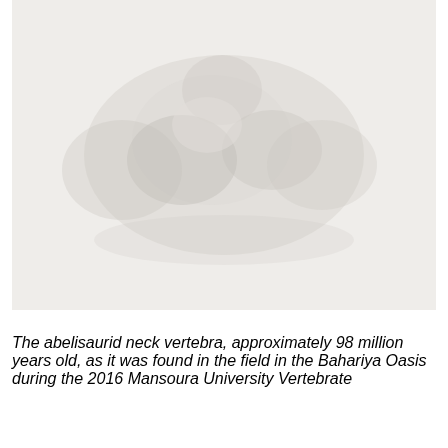[Figure (photo): A pale/washed-out photograph of an abelisaurid neck vertebra fossil as found in the field in the Bahariya Oasis. The fossil is shown on sandy/rocky ground and appears light grey/white against a light background.]
The abelisaurid neck vertebra, approximately 98 million years old, as it was found in the field in the Bahariya Oasis during the 2016 Mansoura University Vertebrate